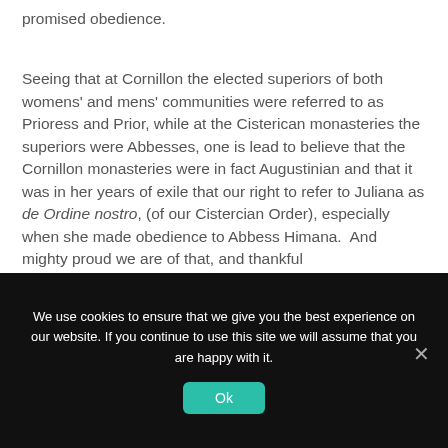promised obedience.
Seeing that at Cornillon the elected superiors of both womens' and mens' communities were referred to as Prioress and Prior, while at the Cisterican monasteries the superiors were Abbesses, one is lead to believe that the Cornillon monasteries were in fact Augustinian and that it was in her years of exile that our right to refer to Juliana as de Ordine nostro, (of our Cistercian Order), especially when she made obedience to Abbess Himana.  And mighty proud we are of that, and thankful
We use cookies to ensure that we give you the best experience on our website. If you continue to use this site we will assume that you are happy with it.